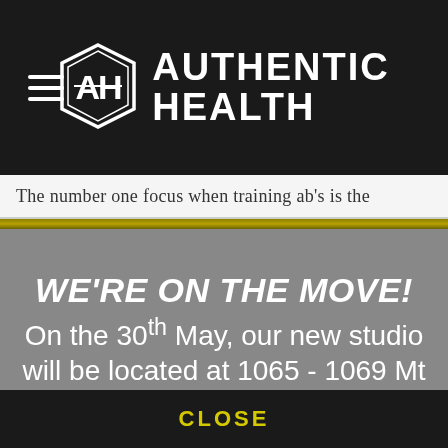[Figure (logo): Authentic Health logo with hexagon emblem containing stylized 'AH' letters and brand name 'AUTHENTIC HEALTH' in bold white capitals]
The number one focus when training ab's is the
WE'RE ON THE MOVE!
On the 30th May, our new studio will be located at 1065 - 1069 Mt Alexander Rd, Essendon.
CLOSE